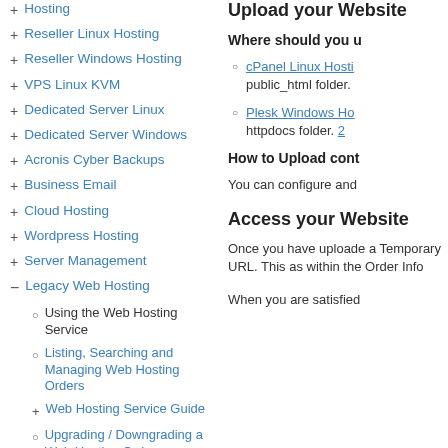+ Hosting
+ Reseller Linux Hosting
+ Reseller Windows Hosting
+ VPS Linux KVM
+ Dedicated Server Linux
+ Dedicated Server Windows
+ Acronis Cyber Backups
+ Business Email
+ Cloud Hosting
+ Wordpress Hosting
+ Server Management
- Legacy Web Hosting
○ Using the Web Hosting Service
○ Listing, Searching and Managing Web Hosting Orders
+ Web Hosting Service Guide
○ Upgrading / Downgrading a Web Hosting Order
Upload your Website
Where should you u
cPanel Linux Hosti... public_html folder.
Plesk Windows Hos... httpdocs folder. 2
How to Upload cont
You can configure and
Access your Website
Once you have uploade... a Temporary URL. This... as within the Order Info...
When you are satisfied